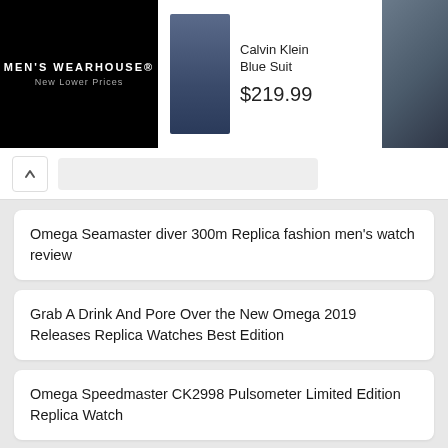[Figure (screenshot): Men's Wearhouse advertisement banner showing a Calvin Klein Blue Suit priced at $219.99, with a suited male figure and a couple in formal wear on the right]
Omega Seamaster diver 300m Replica fashion men's watch review
Grab A Drink And Pore Over the New Omega 2019 Releases Replica Watches Best Edition
Omega Speedmaster CK2998 Pulsometer Limited Edition Replica Watch
Replica Guide Trusted Dealers Omega: Constellation pie-pan